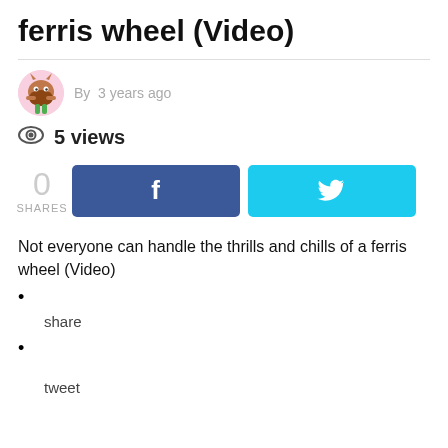ferris wheel (Video)
By  3 years ago
5 views
0 SHARES
Not everyone can handle the thrills and chills of a ferris wheel (Video)
share
tweet